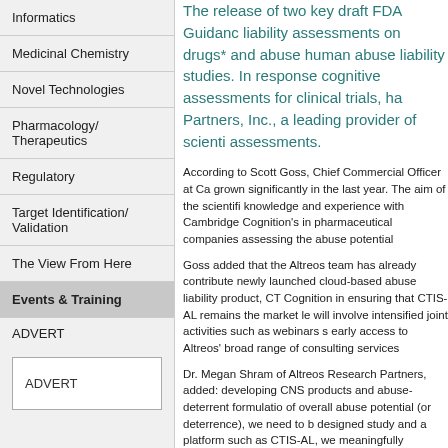Informatics
Medicinal Chemistry
Novel Technologies
Pharmacology/ Therapeutics
Regulatory
Target Identification/ Validation
The View From Here
Events & Training
ADVERT
ADVERT
The release of two key draft FDA Guidance documents on abuse liability assessments on drugs* and abuse-deterrent formulations and human abuse liability studies. In response, Altreos, specialists in cognitive assessments for clinical trials, has partnered with Cambridge Partners, Inc., a leading provider of scientific consulting for these assessments.
According to Scott Goss, Chief Commercial Officer at Cambridge, interest has grown significantly in the last year. The aim of the scientific collaboration is to share knowledge and experience with Cambridge Cognition's innovative CTIS-AL to assist pharmaceutical companies assessing the abuse potential of their drugs.
Goss added that the Altreos team has already contributed significantly to Cambridge's newly launched cloud-based abuse liability product, CTIS-AL, and will assist Cambridge Cognition in ensuring that CTIS-AL remains the market leader. The new partnership will involve intensified joint activities such as webinars shared marketing efforts and early access to Altreos' broad range of consulting services.
Dr. Megan Shram of Altreos Research Partners, added: "For companies developing CNS products and abuse-deterrent formulations with the goal of overall abuse potential (or deterrence), we need to be able to study a well-designed study and a platform such as CTIS-AL, we can help data be meaningfully interpreted."
* Drugs with abuse potential include compounds that are pharmacologically similar to other drugs with known abuse potential or have the potential to change.
Cambridge Cognition